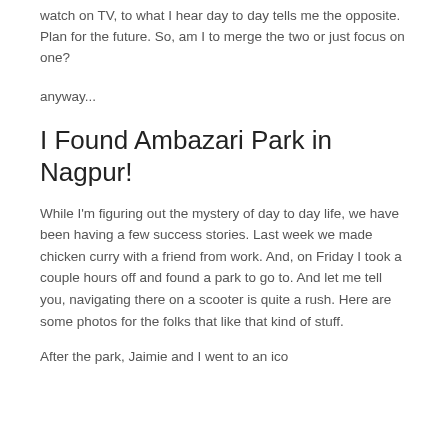watch on TV, to what I hear day to day tells me the opposite.  Plan for the future. So, am I to merge the two or just focus on one?
anyway...
I Found Ambazari Park in Nagpur!
While I'm figuring out the mystery of day to day life, we have been having a few success stories. Last week we made chicken curry with a friend from work. And, on Friday I took a couple hours off and found a park to go to. And let me tell you, navigating there on a scooter is quite a rush. Here are some photos for the folks that like that kind of stuff.
After the park, Jaimie and I went to an ico